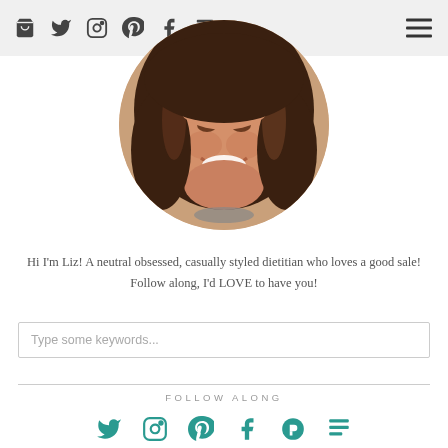Navigation bar with shopping bag, Twitter, Instagram, Pinterest, Facebook, blog/feed icons and hamburger menu
[Figure (photo): Circular cropped portrait photo of a smiling woman with long wavy brown hair and a beaded necklace]
Hi I'm Liz! A neutral obsessed, casually styled dietitian who loves a good sale! Follow along, I'd LOVE to have you!
Type some keywords...
FOLLOW ALONG
[Figure (other): Row of teal social media icons: Twitter, Instagram, Pinterest, another icon, and a blog/feed icon]